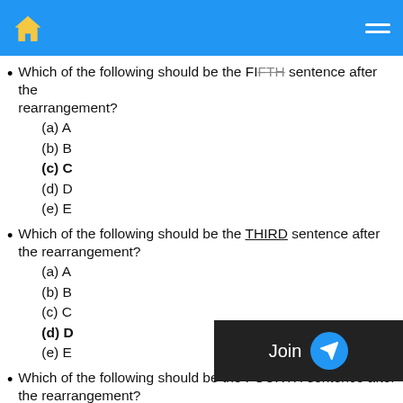Home | Menu
Which of the following should be the FIFTH sentence after the rearrangement?
(a) A
(b) B
(c) C
(d) D
(e) E
Which of the following should be the THIRD sentence after the rearrangement?
(a) A
(b) B
(c) C
(d) D
(e) E
Which of the following should be the FOURTH sentence after the rearrangement?
(a) A